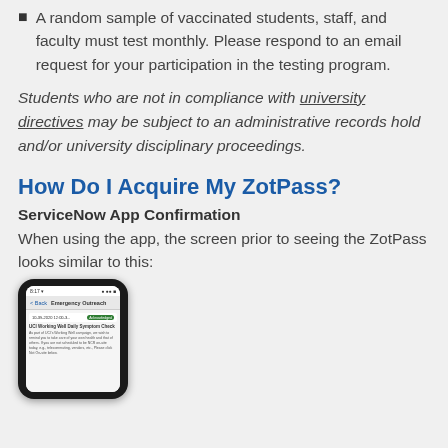A random sample of vaccinated students, staff, and faculty must test monthly. Please respond to an email request for your participation in the testing program.
Students who are not in compliance with university directives may be subject to an administrative records hold and/or university disciplinary proceedings.
How Do I Acquire My ZotPass?
ServiceNow App Confirmation
When using the app, the screen prior to seeing the ZotPass looks similar to this:
[Figure (screenshot): Screenshot of a smartphone showing the ServiceNow app Emergency Outreach screen with a UCI Working Well Daily Symptom Check notification dated 10-39-2020 12:00-3, marked as Acknowledged.]